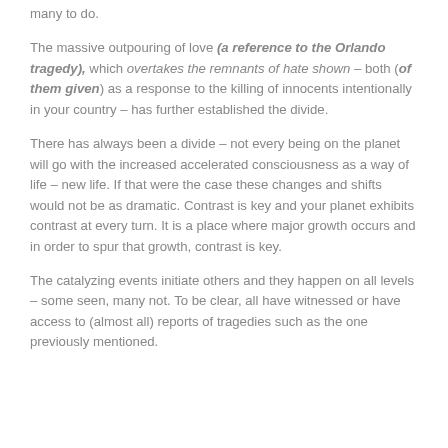many to do.
The massive outpouring of love (a reference to the Orlando tragedy), which overtakes the remnants of hate shown – both (of them given) as a response to the killing of innocents intentionally in your country – has further established the divide.
There has always been a divide – not every being on the planet will go with the increased accelerated consciousness as a way of life – new life.  If that were the case these changes and shifts would not be as dramatic.  Contrast is key and your planet exhibits contrast at every turn.  It is a place where major growth occurs and in order to spur that growth, contrast is key.
The catalyzing events initiate others and they happen on all levels – some seen, many not.  To be clear, all have witnessed or have access to (almost all) reports of tragedies such as the one previously mentioned.